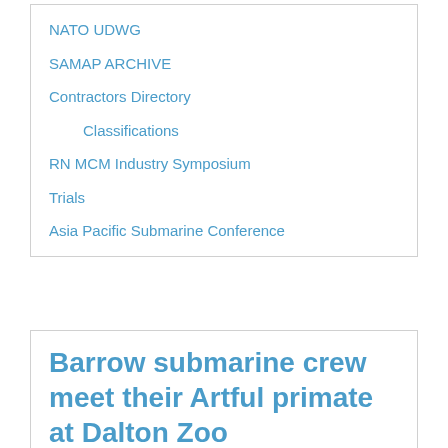NATO UDWG
SAMAP ARCHIVE
Contractors Directory
Classifications
RN MCM Industry Symposium
Trials
Asia Pacific Submarine Conference
Barrow submarine crew meet their Artful primate at Dalton Zoo